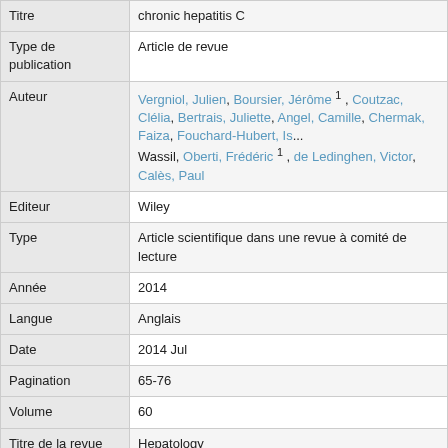| Field | Value |
| --- | --- |
| Titre | chronic hepatitis C |
| Type de publication | Article de revue |
| Auteur | Vergniol, Julien, Boursier, Jérôme 1 , Coutzac, Clélia, Bertrais, Juliette, Angel, Camille, Chermak, Faiza, Fouchard-Hubert, Is... Wassil, Oberti, Frédéric 1 , de Ledinghen, Victor, Calès, Paul |
| Editeur | Wiley |
| Type | Article scientifique dans une revue à comité de lecture |
| Année | 2014 |
| Langue | Anglais |
| Date | 2014 Jul |
| Pagination | 65-76 |
| Volume | 60 |
| Titre de la revue | Hepatology |
| ISSN | 1527-3350 |
|  | Adult, Aged, Aspartate Aminotransferases, Biological Markers, Elasticity Imaging Techniques, Female, Follow-Up Studies, k... |